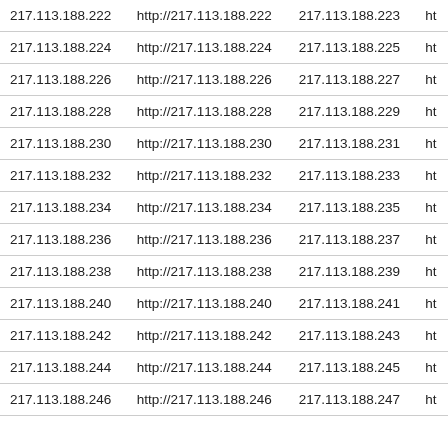| 217.113.188.222 | http://217.113.188.222 | 217.113.188.223 | ht |
| 217.113.188.224 | http://217.113.188.224 | 217.113.188.225 | ht |
| 217.113.188.226 | http://217.113.188.226 | 217.113.188.227 | ht |
| 217.113.188.228 | http://217.113.188.228 | 217.113.188.229 | ht |
| 217.113.188.230 | http://217.113.188.230 | 217.113.188.231 | ht |
| 217.113.188.232 | http://217.113.188.232 | 217.113.188.233 | ht |
| 217.113.188.234 | http://217.113.188.234 | 217.113.188.235 | ht |
| 217.113.188.236 | http://217.113.188.236 | 217.113.188.237 | ht |
| 217.113.188.238 | http://217.113.188.238 | 217.113.188.239 | ht |
| 217.113.188.240 | http://217.113.188.240 | 217.113.188.241 | ht |
| 217.113.188.242 | http://217.113.188.242 | 217.113.188.243 | ht |
| 217.113.188.244 | http://217.113.188.244 | 217.113.188.245 | ht |
| 217.113.188.246 | http://217.113.188.246 | 217.113.188.247 | ht |